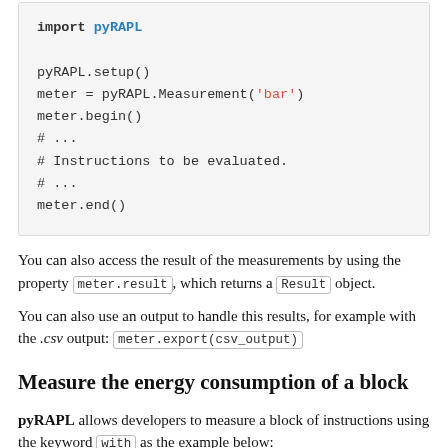[Figure (other): Code block showing pyRAPL usage: import pyRAPL, pyRAPL.setup(), meter = pyRAPL.Measurement('bar'), meter.begin(), # ..., # Instructions to be evaluated., # ..., meter.end()]
You can also access the result of the measurements by using the property meter.result, which returns a Result object.
You can also use an output to handle this results, for example with the .csv output: meter.export(csv_output)
Measure the energy consumption of a block
pyRAPL allows developers to measure a block of instructions using the keyword with as the example below: